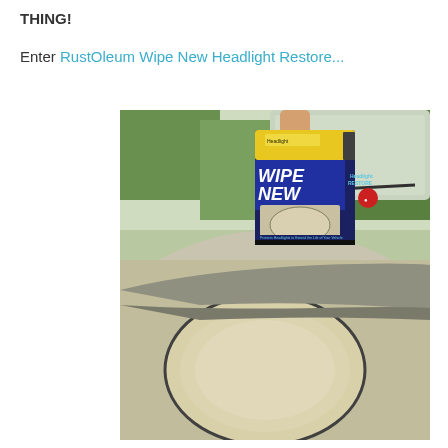THING!
Enter RustOleum Wipe New Headlight Restore...
[Figure (photo): A person holding a box of RustOleum Wipe New Headlight Restore product above a cloudy/yellowed car headlight on a silver car, with green trees in the background.]